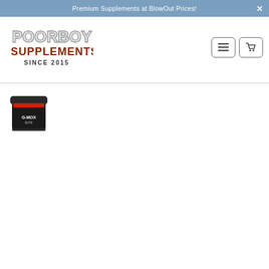Premium Supplements at BlowOut Prices!
[Figure (logo): PoorBoy Supplements logo with text SINCE 2015]
[Figure (photo): Supplement product container, dark colored tub labeled G-MOX or similar]